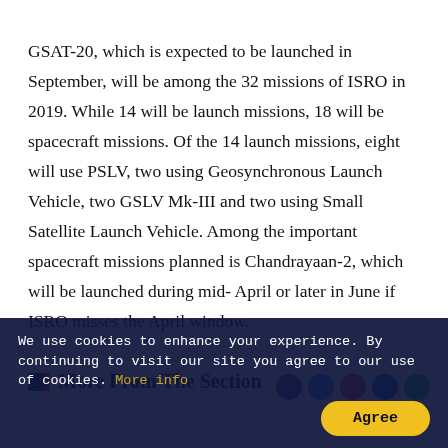GSAT-20, which is expected to be launched in September, will be among the 32 missions of ISRO in 2019. While 14 will be launch missions, 18 will be spacecraft missions. Of the 14 launch missions, eight will use PSLV, two using Geosynchronous Launch Vehicle, two GSLV Mk-III and two using Small Satellite Launch Vehicle. Among the important spacecraft missions planned is Chandrayaan-2, which will be launched during mid- April or later in June if ISRO misses the April window.
More From The Section
We use cookies to enhance your experience. By continuing to visit our site you agree to our use of cookies. More info